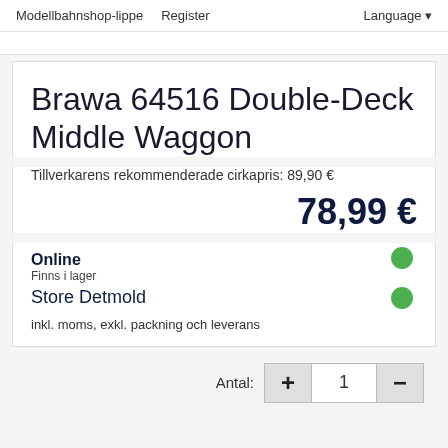Modellbahnshop-lippe   Register   Language
Brawa 64516 Double-Deck Middle Waggon
Tillverkarens rekommenderade cirkapris: 89,90 €
78,99 €
Online
Finns i lager
Store Detmold
inkl. moms, exkl. packning och leverans
Antal: + 1 -